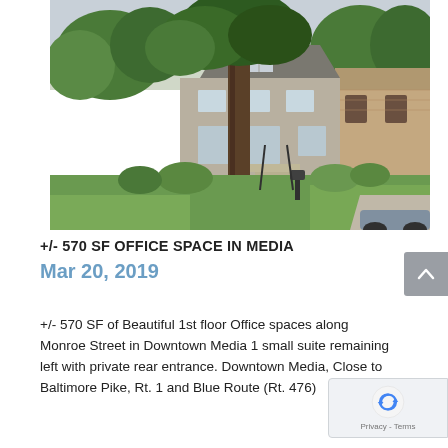[Figure (photo): Exterior photo of a stone/brick two-story office building with a large tree in the foreground, green lawn, and steps leading to a front entrance. Neighboring building visible on right. Taken from slightly elevated angle, likely Google Street View.]
+/- 570 SF OFFICE SPACE IN MEDIA
Mar 20, 2019
+/- 570 SF of Beautiful 1st floor Office spaces along Monroe Street in Downtown Media 1 small suite remaining left with private rear entrance. Downtown Media, Close to Baltimore Pike, Rt. 1 and Blue Route (Rt. 476)